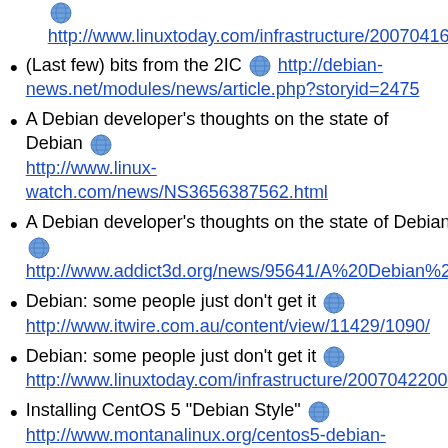http://www.linuxtoday.com/infrastructure/2007041600...
(Last few) bits from the 2IC http://debian-news.net/modules/news/article.php?storyid=2475
A Debian developer's thoughts on the state of Debian http://www.linux-watch.com/news/NS3656387562.html
A Debian developer's thoughts on the state of Debian http://www.addict3d.org/news/95641/A%20Debian%2...
Debian: some people just don't get it http://www.itwire.com.au/content/view/11429/1090/
Debian: some people just don't get it http://www.linuxtoday.com/infrastructure/2007042200...
Installing CentOS 5 "Debian Style" http://www.montanalinux.org/centos5-debian-style.html
Installing CentOS 5 "Debian Style"